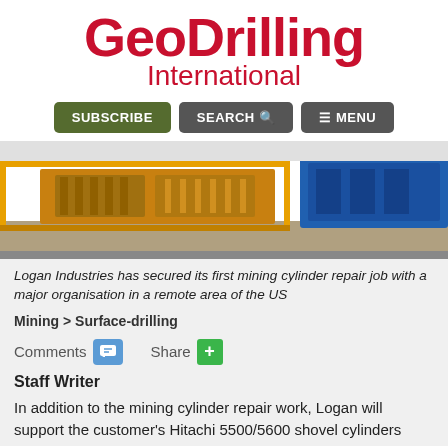[Figure (logo): GeoDrilling International logo in red text]
[Figure (photo): Industrial drilling/mining equipment — yellow and blue metal frames on a factory floor]
Logan Industries has secured its first mining cylinder repair job with a major organisation in a remote area of the US
Mining > Surface-drilling
Comments   Share
Staff Writer
In addition to the mining cylinder repair work, Logan will support the customer's Hitachi 5500/5600 shovel cylinders